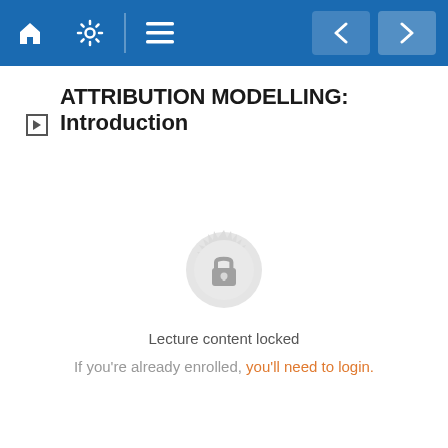Navigation bar with home, settings, menu icons and back/forward arrows
ATTRIBUTION MODELLING: Introduction
[Figure (illustration): A gray decorative badge/seal with a padlock icon in the center, indicating locked content]
Lecture content locked
If you're already enrolled, you'll need to login.